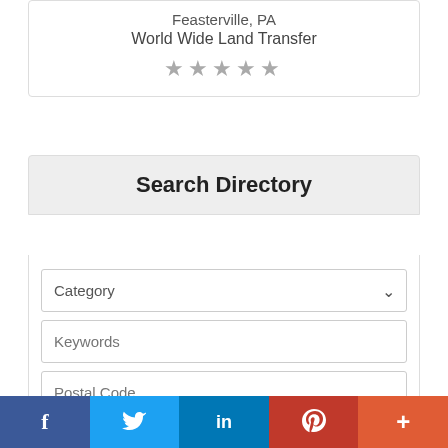Feasterville, PA
World Wide Land Transfer
[Figure (other): Five gray star rating icons]
Search Directory
[Figure (screenshot): Search form with Category dropdown, Keywords text field, Postal Code text field, and a green Search button]
Advanced Search
[Figure (infographic): Social share bar with Facebook, Twitter, LinkedIn, Pinterest, and More buttons]